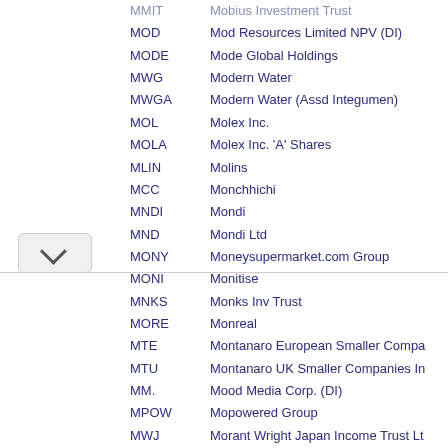MMIT   Mobius Investment Trust
MOD   Mod Resources Limited NPV (DI)
MODE   Mode Global Holdings
MWG   Modern Water
MWGA   Modern Water (Assd Integumen)
MOL   Molex Inc.
MOLA   Molex Inc. 'A' Shares
MLIN   Molins
MCC   Monchhichi
MNDI   Mondi
MND   Mondi Ltd
MONY   Moneysupermarket.com Group
MONI   Monitise
MNKS   Monks Inv Trust
MORE   Monreal
MTE   Montanaro European Smaller Compa...
MTU   Montanaro UK Smaller Companies In...
MM.   Mood Media Corp. (DI)
MPOW   Mopowered Group
MWJ   Morant Wright Japan Income Trust Lt...
MGAM   Morgan Advanced Materials
MGCR   Morgan Crucible Co
MGNS   Morgan Sindall Group
MRW   Morrison (Wm) Supermarkets
MCL   Morses Club
MTN   Morse S...